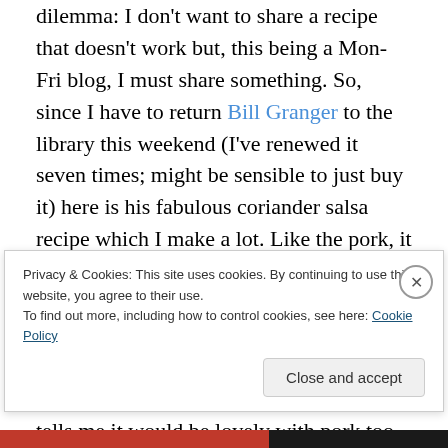dilemma: I don't want to share a recipe that doesn't work but, this being a Mon-Fri blog, I must share something. So, since I have to return Bill Granger to the library this weekend (I've renewed it seven times; might be sensible to just buy it) here is his fabulous coriander salsa recipe which I make a lot. Like the pork, it is full of wonderful ingredients, albeit fewer of them; unlike the pork it tastes of something. BG serves this with a marinated spicy steak; I usually have it with a grilled sirloin though something tells me it would be lovely with pork too. I wish I'd used my
Privacy & Cookies: This site uses cookies. By continuing to use this website, you agree to their use.
To find out more, including how to control cookies, see here: Cookie Policy